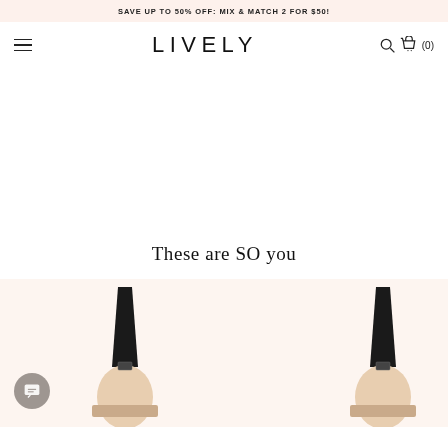SAVE UP TO 50% OFF: MIX & MATCH 2 FOR $50!
LIVELY
These are SO you
[Figure (photo): Two black bras displayed on hangers with beige/nude cups partially visible, on a warm cream/peach background. A chat button icon is visible in the bottom left corner.]